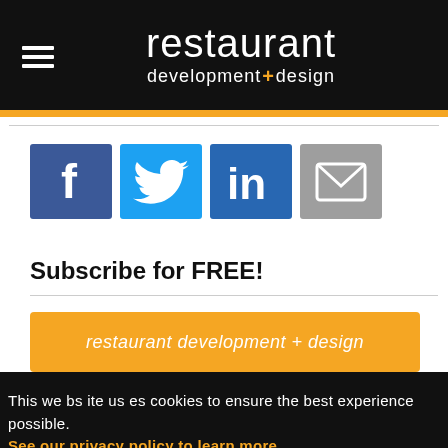restaurant development+design
[Figure (screenshot): Social share buttons: Facebook (blue), Twitter (light blue), LinkedIn (dark blue), Email (gray)]
Subscribe for FREE!
restaurant development + design
This website uses cookies to ensure the best experience possible. See our privacy policy to learn more.
Got it!